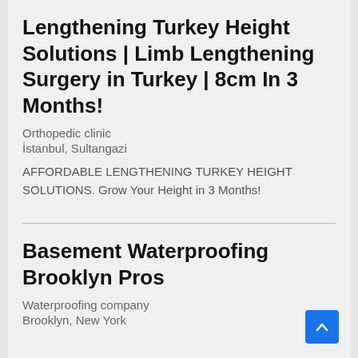Lengthening Turkey Height Solutions | Limb Lengthening Surgery in Turkey | 8cm In 3 Months!
Orthopedic clinic
İstanbul, Sultangazi
AFFORDABLE LENGTHENING TURKEY HEIGHT SOLUTIONS. Grow Your Height in 3 Months!
Basement Waterproofing Brooklyn Pros
Waterproofing company
Brooklyn, New York